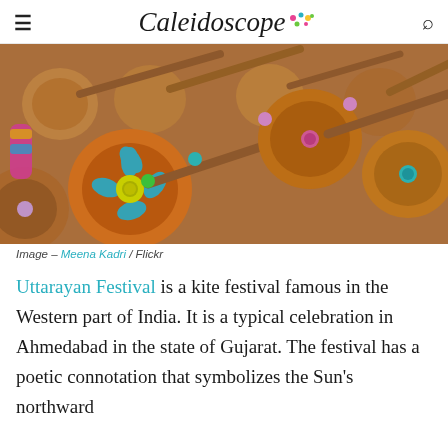Caleidoscope
[Figure (photo): Colorful decorative wooden kite spools (charkha/firki) with painted designs, pink, green, turquoise beads and wooden sticks, arranged in rows. Photo credit: Meena Kadri / Flickr]
Image – Meena Kadri / Flickr
Uttarayan Festival is a kite festival famous in the Western part of India. It is a typical celebration in Ahmedabad in the state of Gujarat. The festival has a poetic connotation that symbolizes the Sun's northward